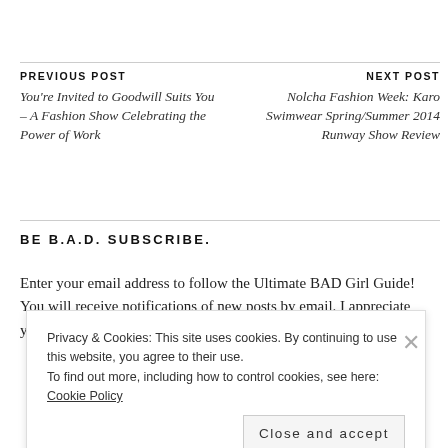PREVIOUS POST
You're Invited to Goodwill Suits You – A Fashion Show Celebrating the Power of Work
NEXT POST
Nolcha Fashion Week: Karo Swimwear Spring/Summer 2014 Runway Show Review
BE B.A.D. SUBSCRIBE.
Enter your email address to follow the Ultimate BAD Girl Guide! You will receive notifications of new posts by email. I appreciate your readership©
Privacy & Cookies: This site uses cookies. By continuing to use this website, you agree to their use. To find out more, including how to control cookies, see here: Cookie Policy
Close and accept